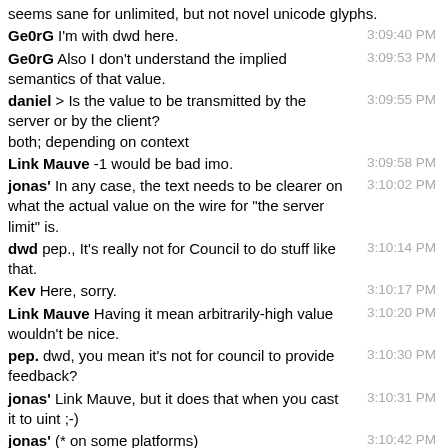seems sane for unlimited, but not novel unicode glyphs.
Ge0rG I'm with dwd here. 3:09:40 PM
Ge0rG Also I don't understand the implied semantics of that value. 3:09:53 PM
daniel > Is the value to be transmitted by the server or by the client? both; depending on context 3:09:55 PM
Link Mauve -1 would be bad imo. 3:09:58 PM
jonas' In any case, the text needs to be clearer on what the actual value on the wire for "the server limit" is. 3:10:02 PM
dwd pep., It's really not for Council to do stuff like that. 3:10:14 PM
Kev Here, sorry. 3:10:17 PM
Link Mauve Having it mean arbitrarily-high value wouldn't be nice. 3:10:20 PM
pep. dwd, you mean it's not for council to provide feedback? 3:10:30 PM
jonas' Link Mauve, but it does that when you cast it to uint ;-) 3:10:31 PM
jonas' (* on some platforms) 3:10:42 PM
Link Mauve jonas', so with an example? 3:10:48 PM
Ge0rG jonas': don't get me started about the semantics of 0198 stanza counter overflow. 3:11:06 PM
jonas' Ge0rG, :-) 3:11:10 PM